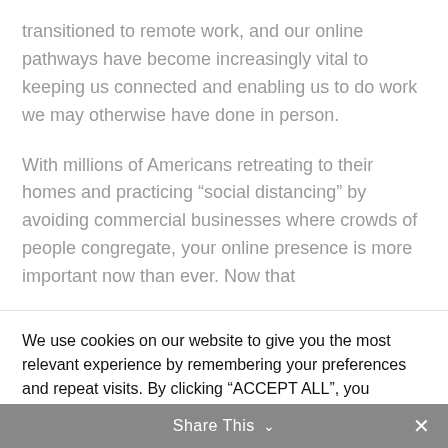transitioned to remote work, and our online pathways have become increasingly vital to keeping us connected and enabling us to do work we may otherwise have done in person.
With millions of Americans retreating to their homes and practicing “social distancing” by avoiding commercial businesses where crowds of people congregate, your online presence is more important now than ever. Now that
We use cookies on our website to give you the most relevant experience by remembering your preferences and repeat visits. By clicking “ACCEPT ALL”, you consent to the use of ALL the cookies. However, you may visit “Cookie Settings” to provide a controlled consent.
Cookie Settings   REJECT ALL   ACCEPT ALL
Share This ∨  ✕